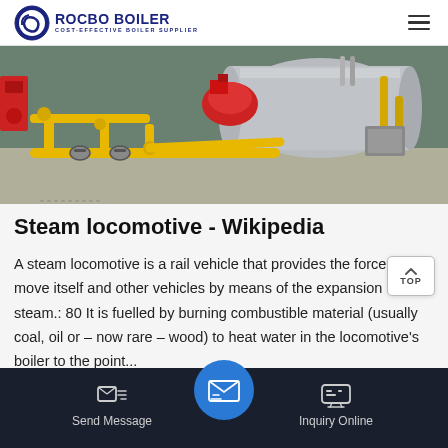[Figure (logo): Rocbo Boiler logo with circular C icon and text 'ROCBO BOILER / COST-EFFECTIVE BOILER SUPPLIER']
[Figure (photo): Industrial boiler room with yellow gas pipes, red burner, and large cylindrical boiler tank on concrete floor]
Steam locomotive - Wikipedia
A steam locomotive is a rail vehicle that provides the force to move itself and other vehicles by means of the expansion of steam.: 80 It is fuelled by burning combustible material (usually coal, oil or – now rare – wood) to heat water in the locomotive's boiler to the point...